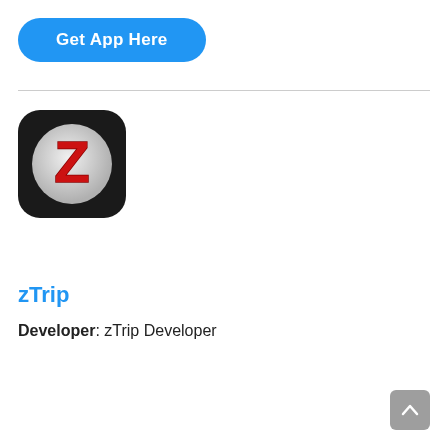[Figure (other): Blue rounded rectangle button labeled 'Get App Here' in bold white text]
[Figure (logo): zTrip app icon: black rounded square with a white/silver circle and a red bold letter Z in the center]
zTrip
Developer: zTrip Developer